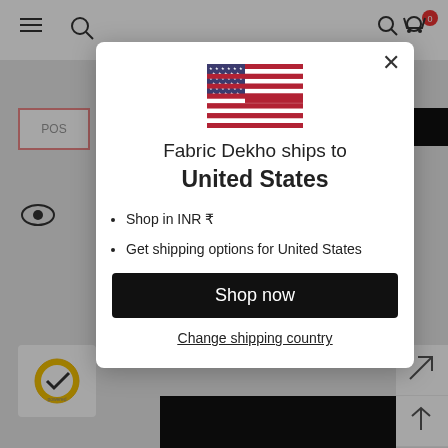[Figure (screenshot): Background webpage showing Fabric Dekho website header with hamburger menu, search icon, logo, cart icon, and partial page content]
[Figure (screenshot): US flag emoji/image centered in modal popup]
Fabric Dekho ships to United States
Shop in INR ₹
Get shipping options for United States
Shop now
Change shipping country
Hello there, How can i help you?